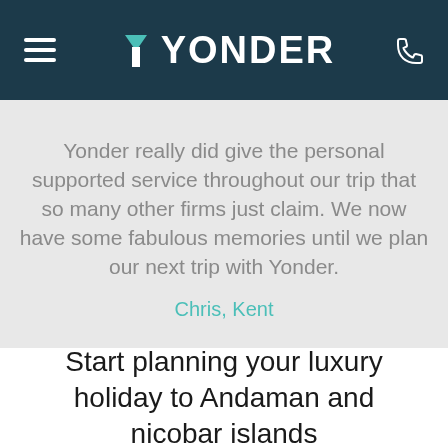≡ YONDER ☎
Yonder really did give the personal supported service throughout our trip that so many other firms just claim. We now have some fabulous memories until we plan our next trip with Yonder.
Chris, Kent
Start planning your luxury holiday to Andaman and nicobar islands